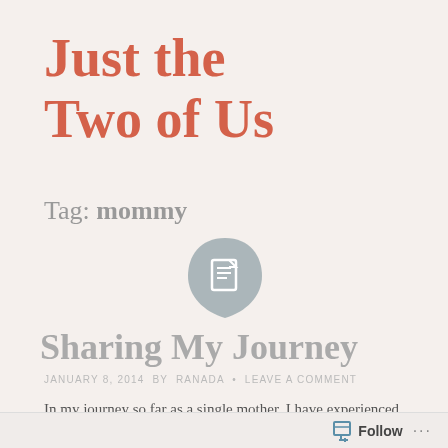Just the Two of Us
Tag: mommy
[Figure (illustration): A grey teardrop/shield shaped icon containing a white document/page icon in the center]
Sharing My Journey
JANUARY 8, 2014 BY RANADA • LEAVE A COMMENT
In my journey so far as a single mother, I have experienced an emotional roller coaster like none I've ever ridden. And
Follow ...